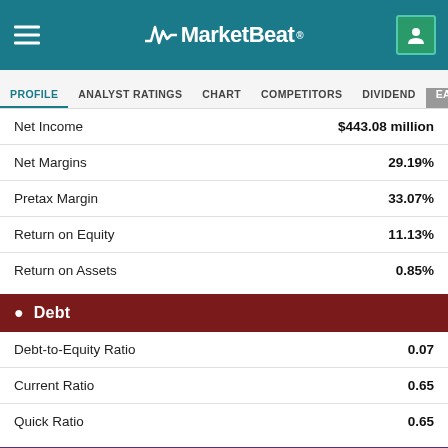MarketBeat
PROFILE  ANALYST RATINGS  CHART  COMPETITORS  DIVIDEND  EARNINGS
| Metric | Value |
| --- | --- |
| Net Income | $443.08 million |
| Net Margins | 29.19% |
| Pretax Margin | 33.07% |
| Return on Equity | 11.13% |
| Return on Assets | 0.85% |
Debt
| Metric | Value |
| --- | --- |
| Debt-to-Equity Ratio | 0.07 |
| Current Ratio | 0.65 |
| Quick Ratio | 0.65 |
Sales & Book Value
| Metric | Value |
| --- | --- |
| Annual Sales | $1.40 billion |
| Price / Sales | 5.99 |